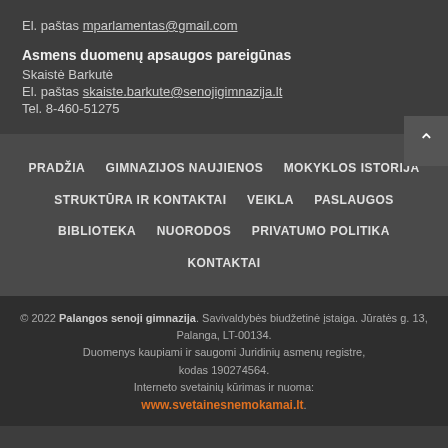El. paštas mparlamentas@gmail.com
Asmens duomenų apsaugos pareigūnas
Skaistė Barkutė
El. paštas skaiste.barkute@senojigimnazija.lt
Tel. 8-460-51275
PRADŽIA  GIMNAZIJOS NAUJIENOS  MOKYKLOS ISTORIJA  STRUKTŪRA IR KONTAKTAI  VEIKLA  PASLAUGOS  BIBLIOTEKA  NUORODOS  PRIVATUMO POLITIKA  KONTAKTAI
© 2022 Palangos senoji gimnazija. Savivaldybės biudžetinė įstaiga. Jūratės g. 13, Palanga, LT-00134. Duomenys kaupiami ir saugomi Juridinių asmenų registre, kodas 190274564. Interneto svetainių kūrimas ir nuoma: www.svetainesnemokamai.lt.